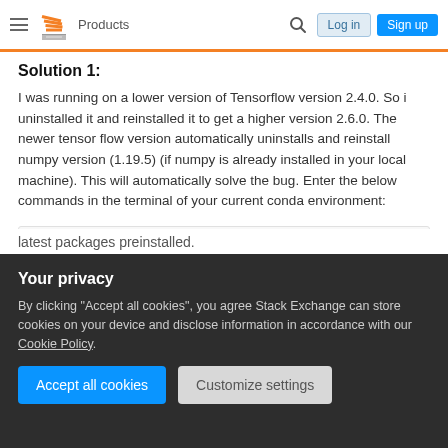Stack Overflow navigation bar with hamburger menu, logo, Products, search icon, Log in, Sign up
Solution 1:
I was running on a lower version of Tensorflow version 2.4.0. So i uninstalled it and reinstalled it to get a higher version 2.6.0. The newer tensor flow version automatically uninstalls and reinstall numpy version (1.19.5) (if numpy is already installed in your local machine). This will automatically solve the bug. Enter the below commands in the terminal of your current conda environment:
pip uninstall tensorflow
Your privacy
By clicking "Accept all cookies", you agree Stack Exchange can store cookies on your device and disclose information in accordance with our Cookie Policy.
Accept all cookies   Customize settings
latest packages preinstalled.